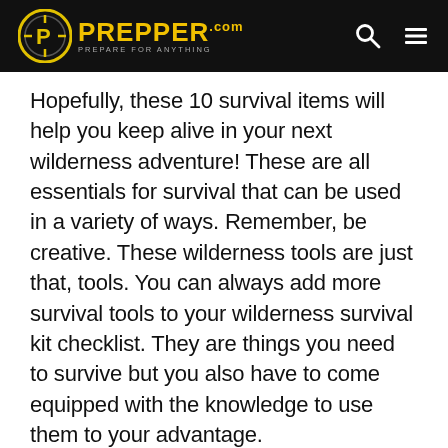PREPPER.com — Prepare for Anything
Hopefully, these 10 survival items will help you keep alive in your next wilderness adventure! These are all essentials for survival that can be used in a variety of ways. Remember, be creative. These wilderness tools are just that, tools. You can always add more survival tools to your wilderness survival kit checklist. They are things you need to survive but you also have to come equipped with the knowledge to use them to your advantage.